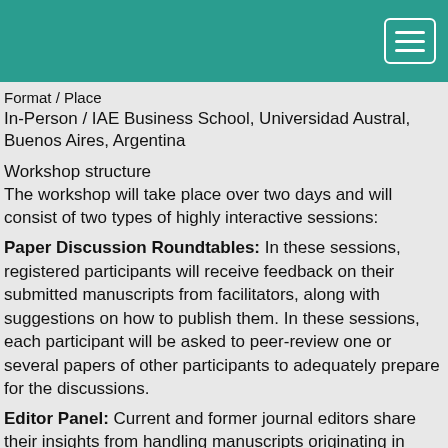Format / Place
In-Person / IAE Business School, Universidad Austral, Buenos Aires, Argentina
Workshop structure
The workshop will take place over two days and will consist of two types of highly interactive sessions:
Paper Discussion Roundtables: In these sessions, registered participants will receive feedback on their submitted manuscripts from facilitators, along with suggestions on how to publish them. In these sessions, each participant will be asked to peer-review one or several papers of other participants to adequately prepare for the discussions.
Editor Panel: Current and former journal editors share their insights from handling manuscripts originating in different countries. They will provide participants with an overview of the different journals where they serve. The Editors will provide general information about publishing in these journals, such as what makes a successful paper, the main reasons that papers are rejected, and strategies for addressing the core challenges